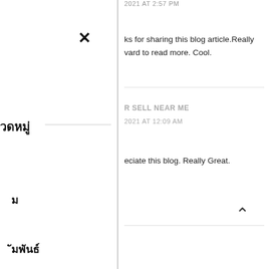2021 AT 2:57 PM
×
ks for sharing this blog article.Really vard to read more. Cool.
วดหมู่
R SELL NEAR ME
2021 AT 12:09 AM
eciate this blog. Really Great.
ม
^
ัมพันธ์